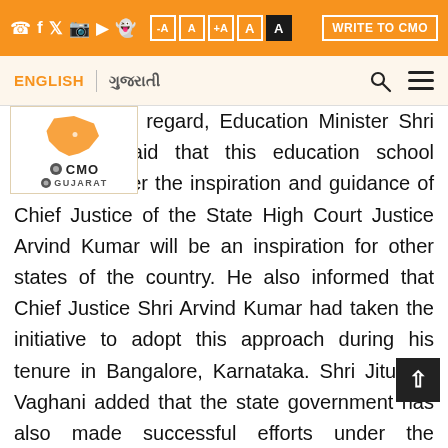CMO Gujarat website header with social icons, font controls, and WRITE TO CMO button
ENGLISH | ગુજરાતી navigation bar with search and menu icons
[Figure (logo): CMO Gujarat logo with Gujarat state map in orange and text CMO GUJARAT]
Giving details in this regard, Education Minister Shri Jitubhai Vaghani said that this education school project started under the inspiration and guidance of Chief Justice of the State High Court Justice Arvind Kumar will be an inspiration for other states of the country. He also informed that Chief Justice Shri Arvind Kumar had taken the initiative to adopt this approach during his tenure in Bangalore, Karnataka. Shri Jitubhai Vaghani added that the state government has also made successful efforts under the direction of CM for providing education facilities in the hinterland of Gujarat. The determination of the CM to adopt a child to impart education and education to a deprived child will compliment these efforts. He said that following the call of the CM, Minister of law Shri Rajendra Trivedi and Jitubhai himself are going to adopt a deprived child and facilitate his education.